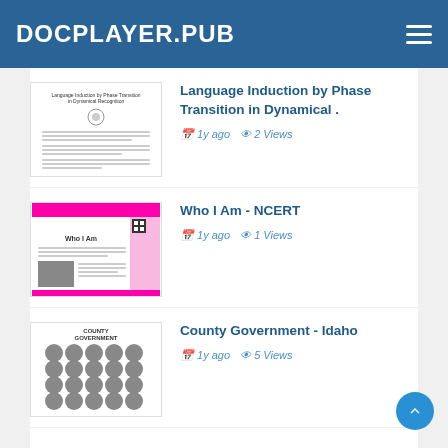DOCPLAYER.PUB
Language Induction by Phase Transition in Dynamical .
1y ago  2 Views
Who I Am - NCERT
1y ago  1 Views
County Government - Idaho
1y ago  5 Views